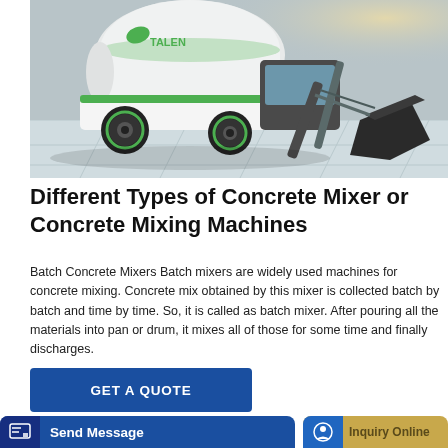[Figure (photo): A green and white self-loading concrete mixer truck (Talenet brand) on a paved surface, showing the drum and front loading bucket.]
Different Types of Concrete Mixer or Concrete Mixing Machines
Batch Concrete Mixers Batch mixers are widely used machines for concrete mixing. Concrete mix obtained by this mixer is collected batch by batch and time by time. So, it is called as batch mixer. After pouring all the materials into pan or drum, it mixes all of those for some time and finally discharges.
GET A QUOTE
Send Message
Inquiry Online